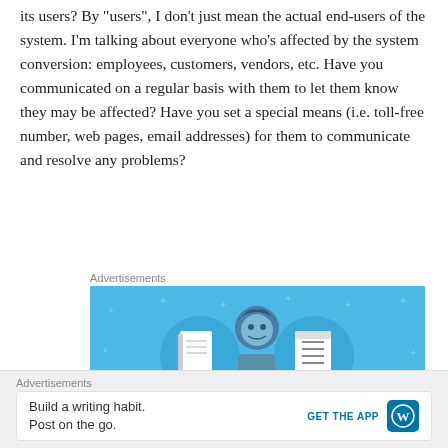its users? By "users", I don't just mean the actual end-users of the system. I'm talking about everyone who's affected by the system conversion: employees, customers, vendors, etc. Have you communicated on a regular basis with them to let them know they may be affected? Have you set a special means (i.e. toll-free number, web pages, email addresses) for them to communicate and resolve any problems?
[Figure (illustration): Advertisement banner with light blue background showing a cartoon person holding a device, flanked by two circular icons — a notebook on the left and a document/list on the right. Small plus/star decorations scattered around.]
Advertisements
[Figure (illustration): Bottom advertisement bar: 'Build a writing habit. Post on the go.' with a GET THE APP button and WordPress logo.]